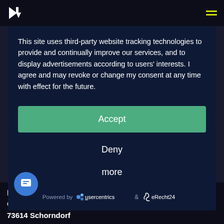[Figure (screenshot): Navigation bar with white logo (stylized R arrow) on dark background and yellow hamburger menu icon on the right]
This site uses third-party website tracking technologies to provide and continually improve our services, and to display advertisements according to users' interests. I agree and may revoke or change my consent at any time with effect for the future.
Accept
Deny
more
Powered by  usercentrics  &  eRecht24
kmanufaktur GbR
Gmünder Street 37
73614 Schorndorf